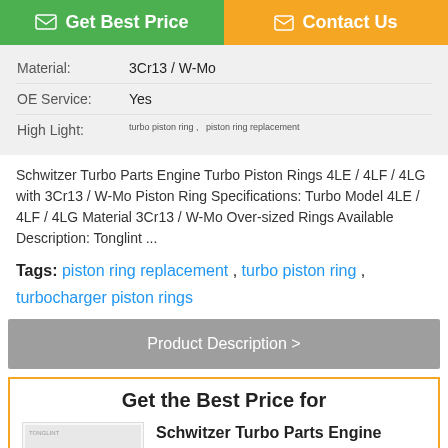[Figure (other): Get Best Price button (green) and Contact Us button (orange) at top of page]
| Material: | 3Cr13 / W-Mo |
| OE Service: | Yes |
| High Light: | turbo piston ring , piston ring replacement |
Schwitzer Turbo Parts Engine Turbo Piston Rings 4LE / 4LF / 4LG with 3Cr13 / W-Mo Piston Ring Specifications: Turbo Model 4LE / 4LF / 4LG Material 3Cr13 / W-Mo Over-sized Rings Available Description: Tonglint ...
Tags: piston ring replacement , turbo piston ring , turbocharger piston rings
Product Description >
Get the Best Price for
Schwitzer Turbo Parts Engine Turbo Piston Rings 4LE / 4LF /...
[Figure (photo): Product image of turbo piston rings (three black rings visible)]
[Figure (other): Chat Now button and Request A Quote button at bottom]